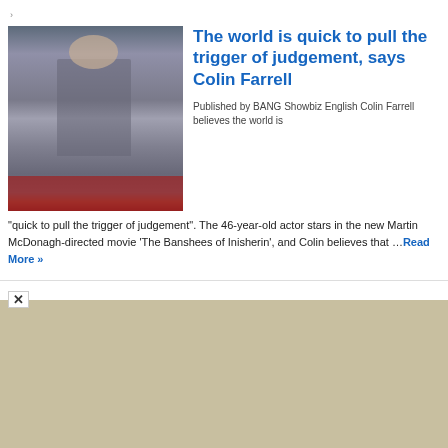>
[Figure (photo): Colin Farrell in a grey suit on a red carpet at a movie premiere, with other attendees in the background]
The world is quick to pull the trigger of judgement, says Colin Farrell
Published by BANG Showbiz English Colin Farrell believes the world is "quick to pull the trigger of judgement". The 46-year-old actor stars in the new Martin McDonagh-directed movie 'The Banshees of Inisherin', and Colin believes that ...
Read More »
>
[Figure (photo): Partial view of a second article image, partially cut off at the bottom of the page]
Olivia Wilde...